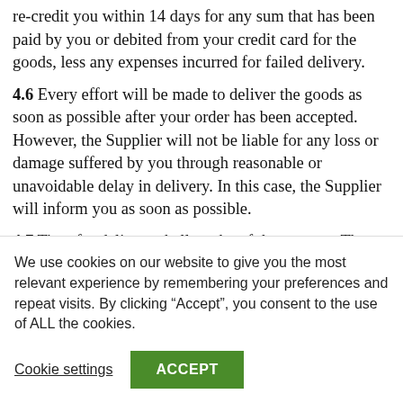re-credit you within 14 days for any sum that has been paid by you or debited from your credit card for the goods, less any expenses incurred for failed delivery.
4.6 Every effort will be made to deliver the goods as soon as possible after your order has been accepted. However, the Supplier will not be liable for any loss or damage suffered by you through reasonable or unavoidable delay in delivery. In this case, the Supplier will inform you as soon as possible.
4.7 Time for delivery shall not be of the essence. The goods may be delivered by the Supplier in advance of
We use cookies on our website to give you the most relevant experience by remembering your preferences and repeat visits. By clicking “Accept”, you consent to the use of ALL the cookies.